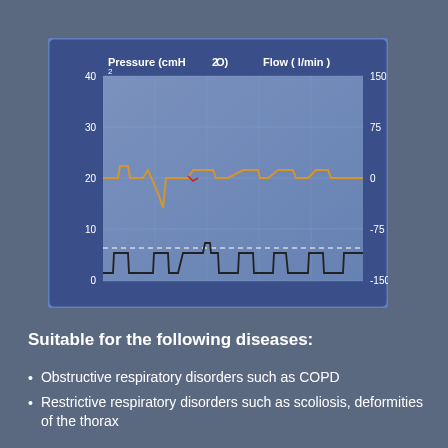[Figure (continuous-plot): Medical ventilator waveform chart showing Pressure (cmH2O) on left y-axis (0 to 40) and Flow (l/min) on right y-axis (-150 to 150). Orange line shows pressure waveform hovering around 20 cmH2O with a dip. Black square-wave line shows flow waveform oscillating between 0 and ~10. Dashed horizontal line at ~10. Blue background with grid.]
Suitable for the following diseases:
Obstructive respiratory disorders such as COPD
Restrictive respiratory disorders such as scoliosis, deformities of the thorax